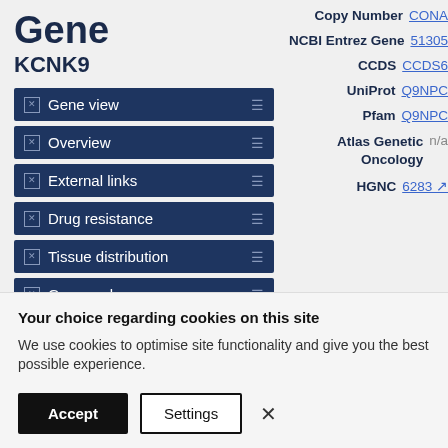Gene KCNK9
Gene view
Overview
External links
Drug resistance
Tissue distribution
Genome browser
Mutation distribution
| Label | Value |
| --- | --- |
| Copy Number | CONA... |
| NCBI Entrez Gene | 51305 |
| CCDS | CCDS6... |
| UniProt | Q9NPC... |
| Pfam | Q9NPC... |
| Atlas Genetic Oncology | n/a |
| HGNC | 6283 |
Your choice regarding cookies on this site
We use cookies to optimise site functionality and give you the best possible experience.
Accept | Settings | ×